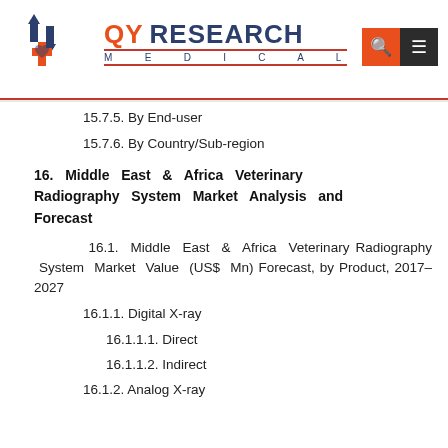QY RESEARCH MEDICAL
15.7.5. By End-user
15.7.6. By Country/Sub-region
16. Middle East & Africa Veterinary Radiography System Market Analysis and Forecast
16.1. Middle East & Africa Veterinary Radiography System Market Value (US$ Mn) Forecast, by Product, 2017–2027
16.1.1. Digital X-ray
16.1.1.1. Direct
16.1.1.2. Indirect
16.1.2. Analog X-ray